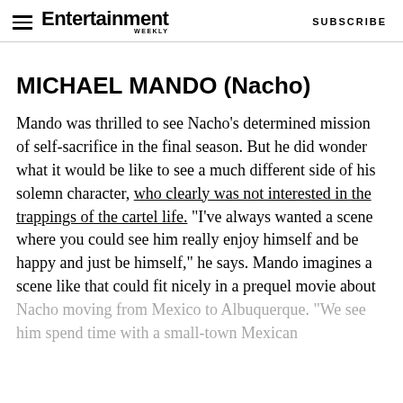Entertainment Weekly — SUBSCRIBE
MICHAEL MANDO (Nacho)
Mando was thrilled to see Nacho's determined mission of self-sacrifice in the final season. But he did wonder what it would be like to see a much different side of his solemn character, who clearly was not interested in the trappings of the cartel life. "I've always wanted a scene where you could see him really enjoy himself and be happy and just be himself," he says. Mando imagines a scene like that could fit nicely in a prequel movie about Nacho moving from Mexico to Albuquerque. "We see him spend time with a small-town Mexican